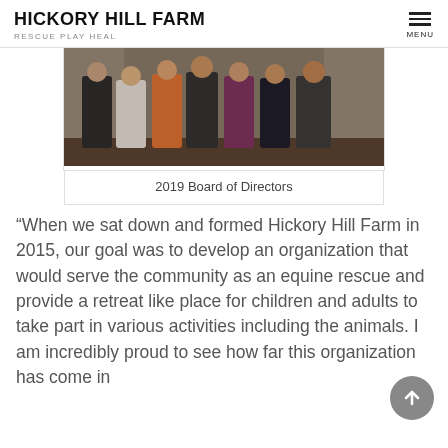HICKORY HILL FARM — RESCUE PLAY HEAL — MENU
[Figure (photo): Group photo of the 2019 Board of Directors standing together indoors]
2019 Board of Directors
“When we sat down and formed Hickory Hill Farm in 2015, our goal was to develop an organization that would serve the community as an equine rescue and provide a retreat like place for children and adults to take part in various activities including the animals. I am incredibly proud to see how far this organization has come in